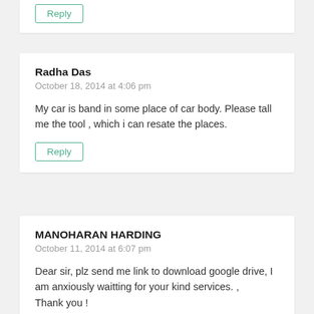Reply
Radha Das
October 18, 2014 at 4:06 pm
My car is band in some place of car body. Please tall me the tool , which i can resate the places.
Reply
MANOHARAN HARDING
October 11, 2014 at 6:07 pm
Dear sir, plz send me link to download google drive, I am anxiously waitting for your kind services. ,
Thank you !
Reply